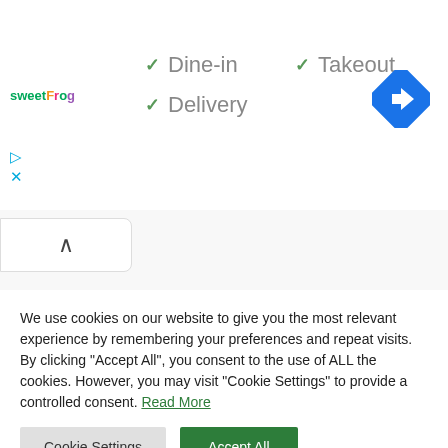[Figure (logo): sweetFrog logo in colorful text]
✓ Dine-in
✓ Takeout
✓ Delivery
[Figure (illustration): Blue diamond navigation/directions icon with white arrow]
[Figure (illustration): Collapsed panel with upward chevron]
We use cookies on our website to give you the most relevant experience by remembering your preferences and repeat visits. By clicking "Accept All", you consent to the use of ALL the cookies. However, you may visit "Cookie Settings" to provide a controlled consent. Read More
Cookie Settings | Accept All